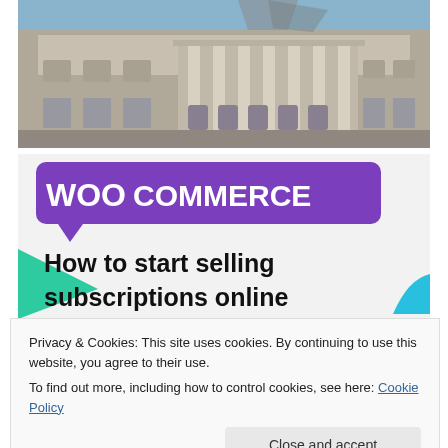[Figure (photo): Photograph of a classical European building facade with columns and ornate stonework, blue sky visible at top]
[Figure (illustration): WooCommerce advertisement banner with purple speech bubble logo, teal and cyan decorative triangles on gray background, bold black text reading 'How to start selling subscriptions online']
Privacy & Cookies: This site uses cookies. By continuing to use this website, you agree to their use.
To find out more, including how to control cookies, see here: Cookie Policy
We also visited the Basilica de San Miguel, which we